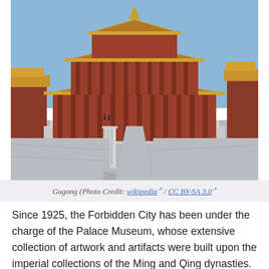[Figure (photo): Photograph of Gugong (the Forbidden City) showing the Hall of Supreme Harmony with golden rooftops, red columns, white marble balustrades and a central pathway leading up to the main hall, taken under a clear blue sky.]
Gugong (Photo Credit: wikipedia / CC BY-SA 3.0)
Since 1925, the Forbidden City has been under the charge of the Palace Museum, whose extensive collection of artwork and artifacts were built upon the imperial collections of the Ming and Qing dynasties. Part of the museum's former collection is now located in the National Palace Museum in Taipei. Both museums descend from the same institution but were split after the Chinese